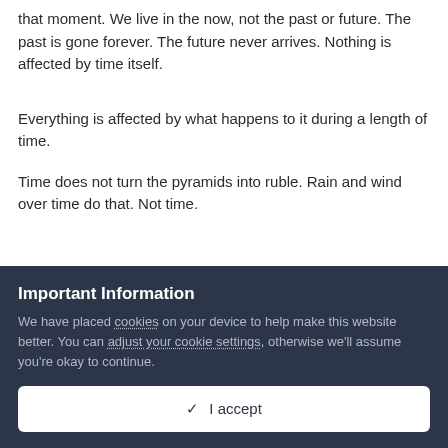that moment. We live in the now, not the past or future. The past is gone forever. The future never arrives. Nothing is affected by time itself.
Everything is affected by what happens to it during a length of time.
Time does not turn the pyramids into ruble. Rain and wind over time do that. Not time.
Important Information
We have placed cookies on your device to help make this website better. You can adjust your cookie settings, otherwise we'll assume you're okay to continue.
✓  I accept